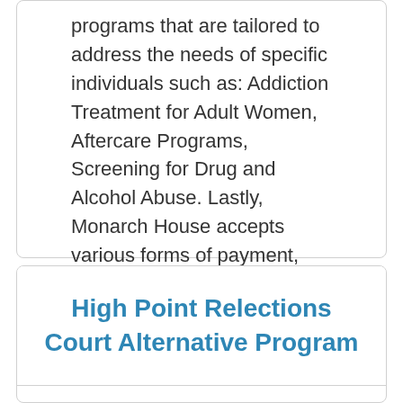programs that are tailored to address the needs of specific individuals such as: Addiction Treatment for Adult Women, Aftercare Programs, Screening for Drug and Alcohol Abuse. Lastly, Monarch House accepts various forms of payment, such as Self-Payment.
High Point Relections Court Alternative Program
High Point Relections Court Alternative Program is a drug and alcohol rehab based at 497 Belleville Avenue in New Bedford, MA.